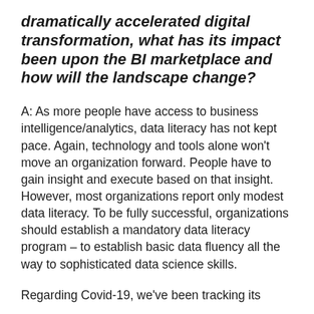dramatically accelerated digital transformation, what has its impact been upon the BI marketplace and how will the landscape change?
A: As more people have access to business intelligence/analytics, data literacy has not kept pace. Again, technology and tools alone won't move an organization forward. People have to gain insight and execute based on that insight. However, most organizations report only modest data literacy. To be fully successful, organizations should establish a mandatory data literacy program – to establish basic data fluency all the way to sophisticated data science skills.
Regarding Covid-19, we've been tracking its